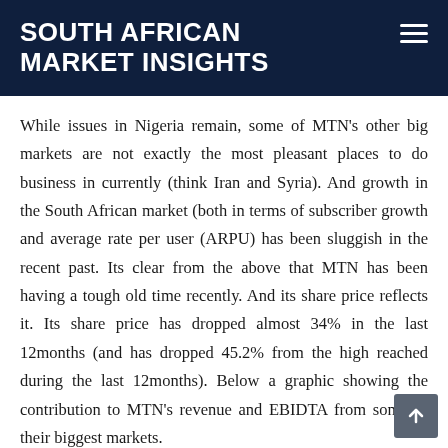SOUTH AFRICAN MARKET INSIGHTS
While issues in Nigeria remain, some of MTN's other big markets are not exactly the most pleasant places to do business in currently (think Iran and Syria). And growth in the South African market (both in terms of subscriber growth and average rate per user (ARPU) has been sluggish in the recent past. Its clear from the above that MTN has been having a tough old time recently. And its share price reflects it. Its share price has dropped almost 34% in the last 12months (and has dropped 45.2% from the high reached during the last 12months). Below a graphic showing the contribution to MTN's revenue and EBIDTA from some of their biggest markets.